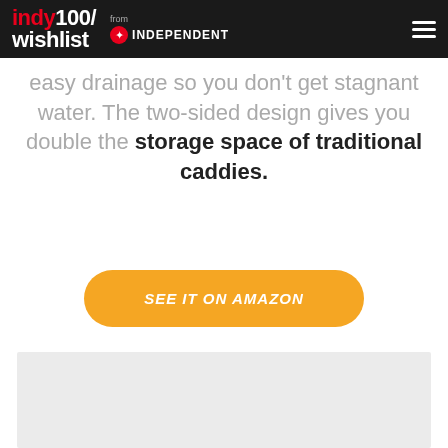indy100/wishlist from INDEPENDENT
easy drainage so you don't get stagnant water. The two-sided design gives you double the storage space of traditional caddies.
SEE IT ON AMAZON
[Figure (photo): Light gray image placeholder at the bottom of the page]